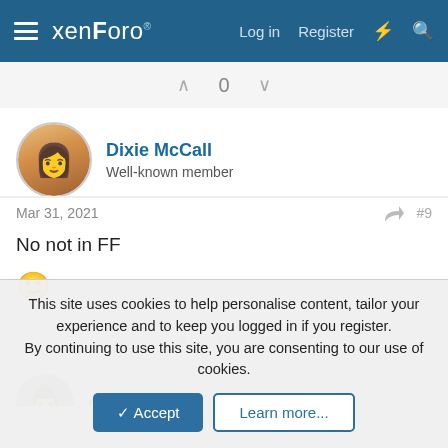xenForo — Log in  Register
0
Dixie McCall
Well-known member
Mar 31, 2021  #9
No not in FF
🙂
0
djbaxter
This site uses cookies to help personalise content, tailor your experience and to keep you logged in if you register.
By continuing to use this site, you are consenting to our use of cookies.